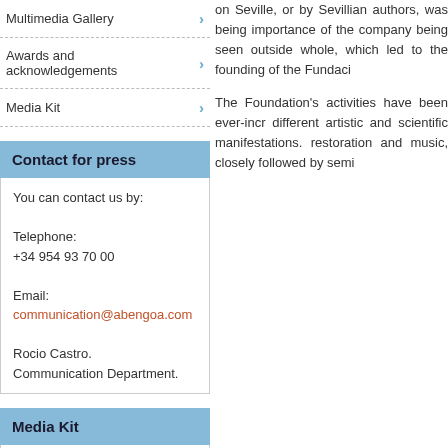Multimedia Gallery
Awards and acknowledgements
Media Kit
Contact for press
You can contact us by:

Telephone:
+34 954 93 70 00

Email:
communication@abengoa.com

Rocio Castro.
Communication Department.
Media Kit
Download it!
Follow us on:
on Seville, or by Sevillian authors, was being importance of the company being seen outside whole, which led to the founding of the Fundaci
The Foundation's activities have been ever-incr different artistic and scientific manifestations. restoration and music, closely followed by semi